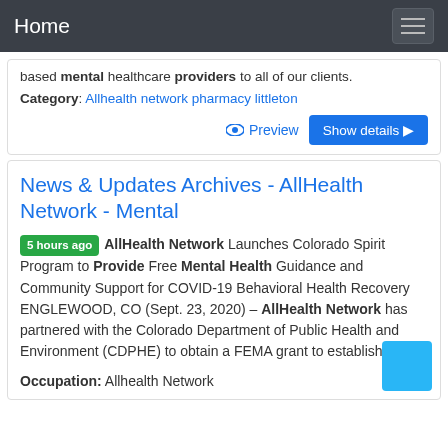Home
based mental healthcare providers to all of our clients.
Category: Allhealth network pharmacy littleton
Preview   Show details
News & Updates Archives - AllHealth Network - Mental
5 hours ago AllHealth Network Launches Colorado Spirit Program to Provide Free Mental Health Guidance and Community Support for COVID-19 Behavioral Health Recovery ENGLEWOOD, CO (Sept. 23, 2020) – AllHealth Network has partnered with the Colorado Department of Public Health and Environment (CDPHE) to obtain a FEMA grant to establish a ...
Occupation: Allhealth Network